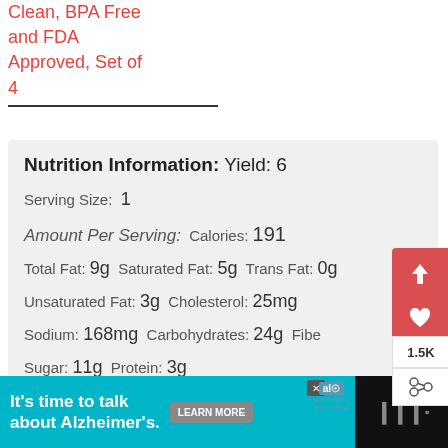Clean, BPA Free and FDA Approved, Set of 4
| Nutrition Information: | Yield: 6 |
| Serving Size: | 1 |
| Amount Per Serving: | Calories: 191 |
| Total Fat: | 9g | Saturated Fat: | 5g | Trans Fat: | 0g |
| Unsaturated Fat: | 3g | Cholesterol: | 25mg |
| Sodium: | 168mg | Carbohydrates: | 24g | Fiber: |
| Sugar: | 11g | Protein: | 3g |
WHAT'S NEXT → How To Make A Quick Bas...
It's time to talk about Alzheimer's. LEARN MORE